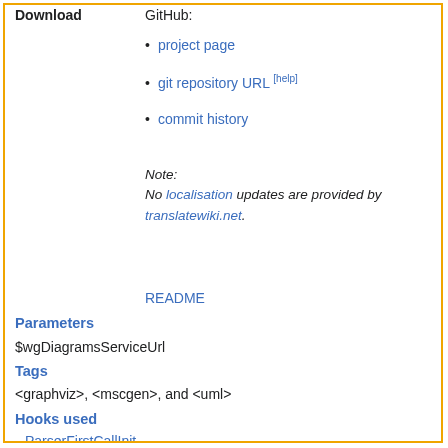Download
GitHub:
project page
git repository URL [help]
commit history
Note:
No localisation updates are provided by translatewiki.net.
README
Parameters
$wgDiagramsServiceUrl
Tags
<graphviz>, <mscgen>, and <uml>
Hooks used
ParserFirstCallInit